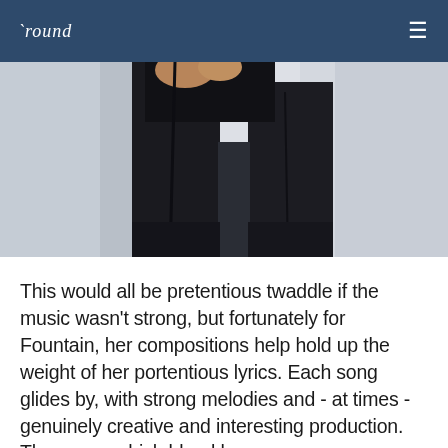'round
[Figure (photo): Cropped photo showing the lower body of a person wearing dark/black trousers, standing against a light grey/white background, with hands partially visible at top.]
This would all be pretentious twaddle if the music wasn't strong, but fortunately for Fountain, her compositions help hold up the weight of her portentious lyrics. Each song glides by, with strong melodies and - at times - genuinely creative and interesting production. The songs which blend her